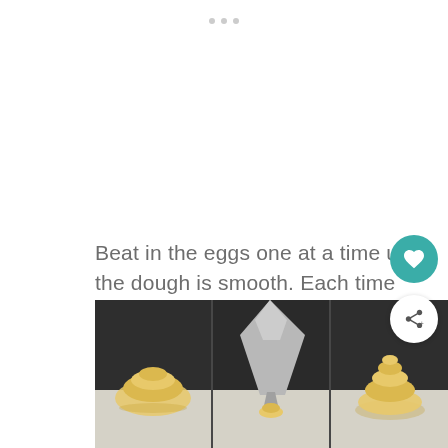[Figure (other): Three small dots page indicator at top center]
Beat in the eggs one at a time until the dough is smooth. Each time you start beating in an egg, the dough will separate but keep stirring and it will come together again.
[Figure (photo): Three-panel photo strip showing choux pastry dough being piped onto a baking sheet lined with parchment paper, with finished piped mounds visible on either side]